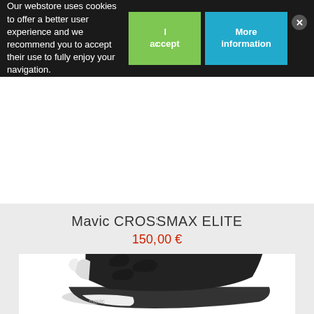Our webstore uses cookies to offer a better user experience and we recommend you to accept their use to fully enjoy your navigation.
I accept
More information
Mavic CROSSMAX ELITE
150,00 €
[Figure (photo): Black Mavic CROSSMAX ELITE cycling shoe with BOA closure system and yellow Mavic logo, shown from the side against a white background.]